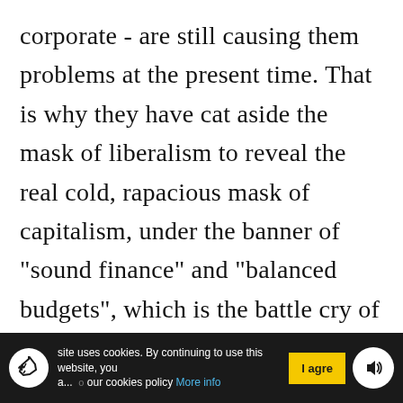corporate - are still causing them problems at the present time. That is why they have cat aside the mask of liberalism to reveal the real cold, rapacious mask of capitalism, under the banner of "sound finance" and "balanced budgets", which is the battle cry of those advocating austerity.

In their desperation to find a way out of the crisis, the bourgeois economists swing all over the place, supporting first one
site uses cookies. By continuing to use this website, you a... our cookies policy More info | I agre...